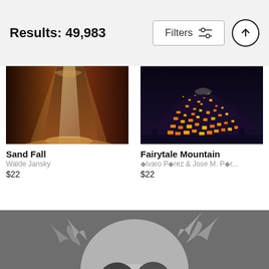Results: 49,983
Filters
[Figure (photo): Sand Fall – canyon with light beam and sand falling]
Sand Fall
Walde Jansky
$22
[Figure (photo): Fairytale Mountain – aerial night view of illuminated mountain town]
Fairytale Mountain
◆lvaro P◆rez & Jose M. P◆r...
$22
[Figure (photo): Dog holding a red rose in its mouth, windswept fur, dark grey background]